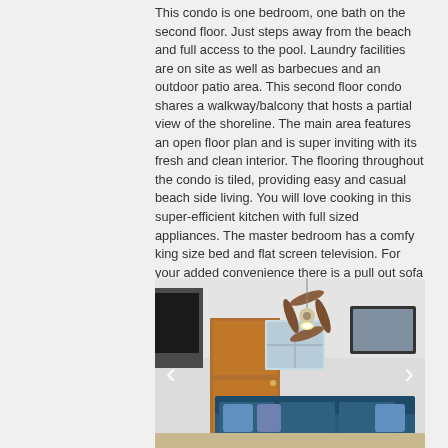This condo is one bedroom, one bath on the second floor. Just steps away from the beach and full access to the pool. Laundry facilities are on site as well as barbecues and an outdoor patio area. This second floor condo shares a walkway/balcony that hosts a partial view of the shoreline. The main area features an open floor plan and is super inviting with its fresh and clean interior. The flooring throughout the condo is tiled, providing easy and casual beach side living. You will love cooking in this super-efficient kitchen with full sized appliances. The master bedroom has a comfy king size bed and flat screen television. For your added convenience there is a pull out sofa bed for the occasional guest, wireless internet and cable.
[Figure (photo): Interior photo of a beach condo living room showing a ceiling fan, a wooden door, a window with natural light, a mirror on the wall, and blue/teal sofa. Navigation arrows (left and right chevrons) overlay the photo for an image carousel.]